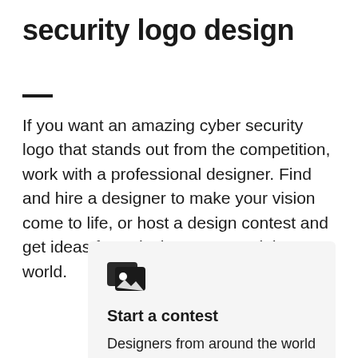security logo design
If you want an amazing cyber security logo that stands out from the competition, work with a professional designer. Find and hire a designer to make your vision come to life, or host a design contest and get ideas from designers around the world.
Start a contest
Designers from around the world pitch you ideas. You provide feedback, hone your